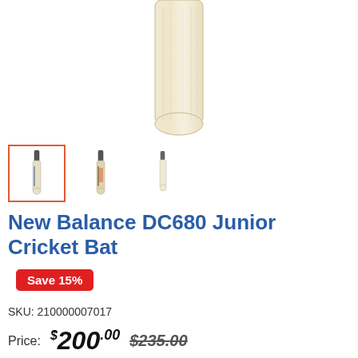[Figure (photo): Close-up of a cricket bat handle/blade top section, wood grain visible, on white background]
[Figure (photo): Three thumbnail images of the New Balance DC680 Junior Cricket Bat; first thumbnail is selected (highlighted with orange border)]
New Balance DC680 Junior Cricket Bat
Save 15%
SKU: 210000007017
Price: $200.00  $235.00